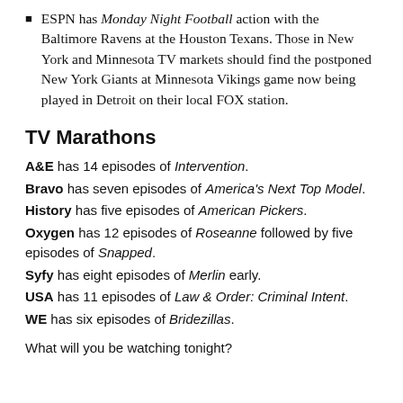ESPN has Monday Night Football action with the Baltimore Ravens at the Houston Texans. Those in New York and Minnesota TV markets should find the postponed New York Giants at Minnesota Vikings game now being played in Detroit on their local FOX station.
TV Marathons
A&E has 14 episodes of Intervention.
Bravo has seven episodes of America's Next Top Model.
History has five episodes of American Pickers.
Oxygen has 12 episodes of Roseanne followed by five episodes of Snapped.
Syfy has eight episodes of Merlin early.
USA has 11 episodes of Law & Order: Criminal Intent.
WE has six episodes of Bridezillas.
What will you be watching tonight?